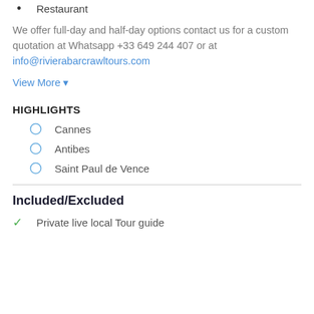Restaurant
We offer full-day and half-day options contact us for a custom quotation at Whatsapp +33 649 244 407 or at info@rivierabarcrawltours.com
View More ▾
HIGHLIGHTS
Cannes
Antibes
Saint Paul de Vence
Included/Excluded
Private live local Tour guide